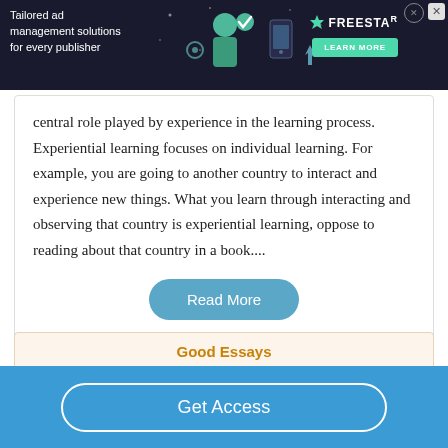[Figure (screenshot): Ad banner: dark background with text 'Tailored ad management solutions for every publisher', FREESTAR logo with learn more button, decorative graphic of person with tech icons]
central role played by experience in the learning process. Experiential learning focuses on individual learning. For example, you are going to another country to interact and experience new things. What you learn through interacting and observing that country is experiential learning, oppose to reading about that country in a book....
Read More
Good Essays
Application Of John Dewey's Principle Of
Get Access